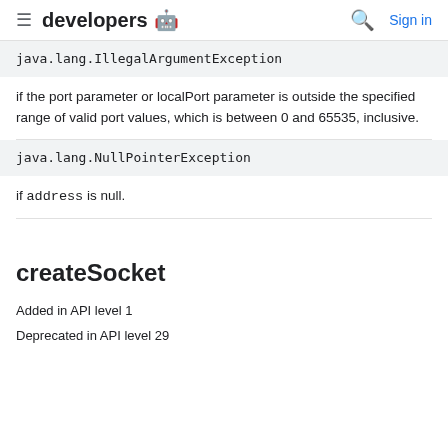developers
java.lang.IllegalArgumentException
if the port parameter or localPort parameter is outside the specified range of valid port values, which is between 0 and 65535, inclusive.
java.lang.NullPointerException
if address is null.
createSocket
Added in API level 1
Deprecated in API level 29